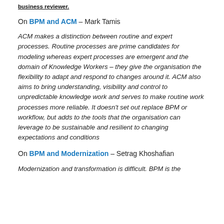business reviewer.
On BPM and ACM – Mark Tamis
ACM makes a distinction between routine and expert processes. Routine processes are prime candidates for modeling whereas expert processes are emergent and the domain of Knowledge Workers – they give the organisation the flexibility to adapt and respond to changes around it. ACM also aims to bring understanding, visibility and control to unpredictable knowledge work and serves to make routine work processes more reliable. It doesn't set out replace BPM or workflow, but adds to the tools that the organisation can leverage to be sustainable and resilient to changing expectations and conditions
On BPM and Modernization – Setrag Khoshafian
Modernization and transformation is difficult. BPM is the